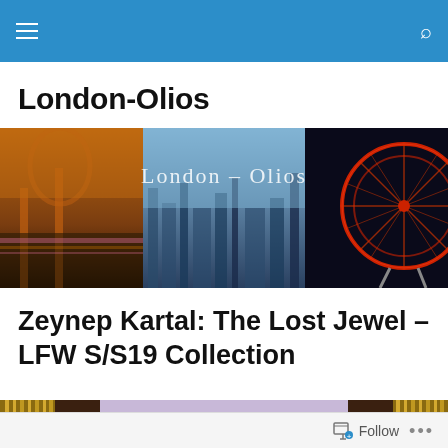London-Olios navigation bar
London-Olios
[Figure (photo): Website banner showing three London photos side by side: a bridge at night with colorful reflections, a daytime city skyline with the text 'London – Olios' overlaid, and the London Eye illuminated at night.]
Zeynep Kartal: The Lost Jewel – LFW S/S19 Collection
[Figure (photo): Bottom portion of a fashion photograph showing gold vertical stripes and fabric panels against a light purple/lavender background.]
Follow ...